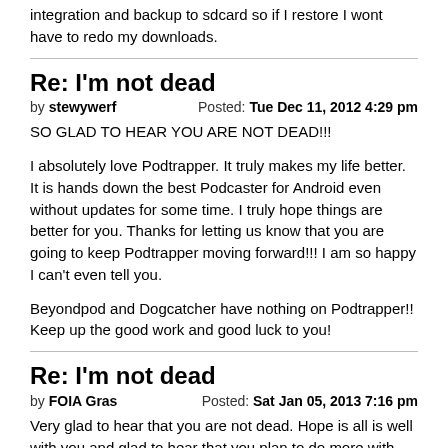integration and backup to sdcard so if I restore I wont have to redo my downloads.
Re: I'm not dead
by stewywerf
Posted: Tue Dec 11, 2012 4:29 pm
SO GLAD TO HEAR YOU ARE NOT DEAD!!!

I absolutely love Podtrapper. It truly makes my life better. It is hands down the best Podcaster for Android even without updates for some time. I truly hope things are better for you. Thanks for letting us know that you are going to keep Podtrapper moving forward!!! I am so happy I can't even tell you.

Beyondpod and Dogcatcher have nothing on Podtrapper!! Keep up the good work and good luck to you!
Re: I'm not dead
by FOIA Gras
Posted: Sat Jan 05, 2013 7:16 pm
Very glad to hear that you are not dead. Hope is all is well with you and glad to hear that you plan to do more with PodTrapper. I couldn't imagine podcasting on my BlackBerry without it.